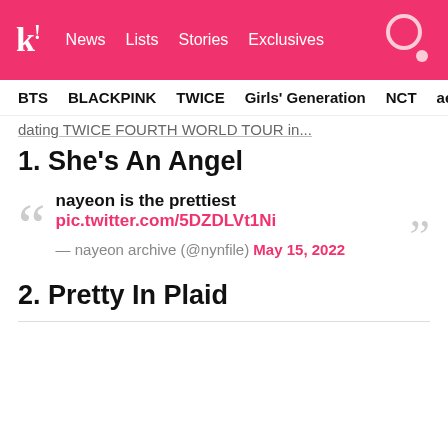Koreaboo — News | Lists | Stories | Exclusives
BTS   BLACKPINK   TWICE   Girls' Generation   NCT   aespa
dating TWICE FOURTH WORLD TOUR in...
1. She's An Angel
nayeon is the prettiest pic.twitter.com/5DZDLVt1Ni — nayeon archive (@nynfile) May 15, 2022
2. Pretty In Plaid